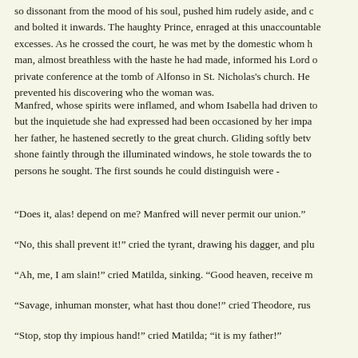so dissonant from the mood of his soul, pushed him rudely aside, and bolted it inwards.  The haughty Prince, enraged at this unaccountable excesses.  As he crossed the court, he was met by the domestic whom man, almost breathless with the haste he had made, informed his Lord private conference at the tomb of Alfonso in St. Nicholas's church.  He prevented his discovering who the woman was.
Manfred, whose spirits were inflamed, and whom Isabella had driven but the inquietude she had expressed had been occasioned by her impa her father, he hastened secretly to the great church.  Gliding softly betv shone faintly through the illuminated windows, he stole towards the to persons he sought.  The first sounds he could distinguish were -
“Does it, alas! depend on me?  Manfred will never permit our union.”
“No, this shall prevent it!” cried the tyrant, drawing his dagger, and plu
“Ah, me, I am slain!” cried Matilda, sinking.  “Good heaven, receive m
“Savage, inhuman monster, what hast thou done!” cried Theodore, rus
“Stop, stop thy impious hand!” cried Matilda; “it is my father!”
Manfred, waking as from a trance, beat his breast, twisted his hands in